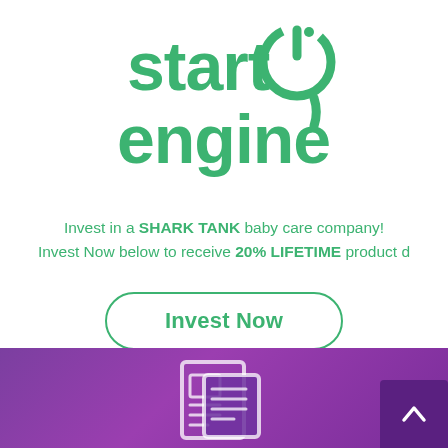[Figure (logo): StartEngine logo in green — 'start' on top line with a power button icon, 'engine' on bottom line, with a circular arc on the right side forming the power symbol.]
Invest in a SHARK TANK baby care company! Invest Now below to receive 20% LIFETIME product discount
Invest Now
[Figure (illustration): Purple banner section at bottom with a newspaper/document icon in outline style, and a dark purple back-to-top arrow button in the bottom right corner.]